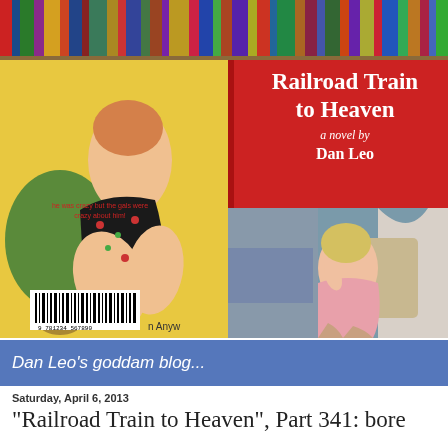[Figure (photo): Blog header image showing a bookshelf background with two book covers displayed. Left cover has yellow background with a vintage pulp-fiction style illustration of a woman in a black floral dress. Right cover is the 'Railroad Train to Heaven' book with a red top section showing the title and author Dan Leo, and a bottom section with a painting of a blonde woman in a pink dress.]
Railroad Train to Heaven
a novel by
Dan Leo
Dan Leo's goddam blog...
Saturday, April 6, 2013
“Railroad Train to Heaven”, Part 341: bore